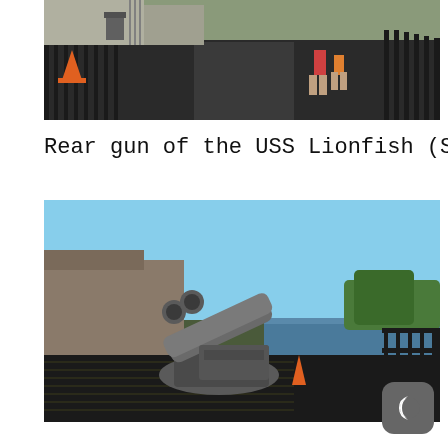[Figure (photo): Top-down view of a ship deck walkway with metal railings, an orange traffic cone on the left, and people walking in the background on a dark non-slip surface.]
Rear gun of the USS Lionfish (SS)
[Figure (photo): Rear deck gun of the USS Lionfish submarine (SS) photographed from the deck level, showing the large grey gun barrel pointed upward, with the waterway and trees visible in the background on a sunny day. A dark mode toggle button (moon icon) is visible in the lower right corner.]